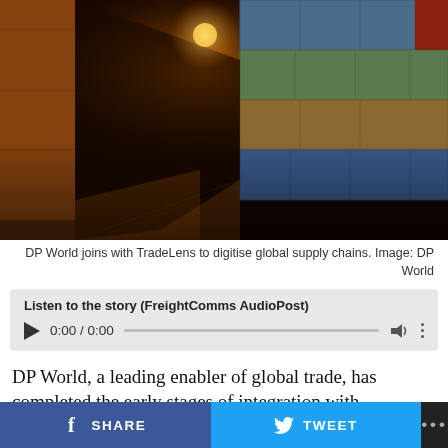[Figure (photo): Shipping containers stacked at a port at night with wet ground reflections and orange lighting]
DP World joins with TradeLens to digitise global supply chains. Image: DP World
[Figure (other): Audio player widget: Listen to the story (FreightComms AudioPost), showing 0:00 / 0:00 with play button, progress bar, volume and more controls]
DP World, a leading enabler of global trade, has completed the early stages of integration with TradeLens, a blockchain-based digital container logistics
SHARE   TWEET   ...